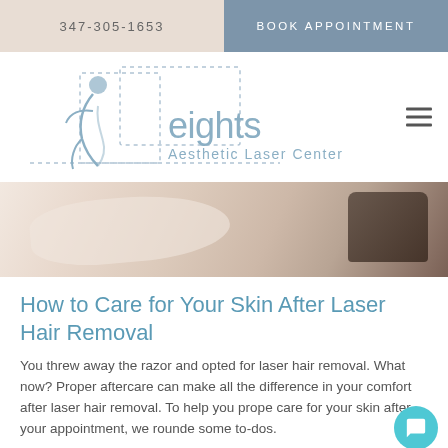347-305-1653
BOOK APPOINTMENT
[Figure (logo): Heights Aesthetic Laser Center logo with stylized female figure silhouette and dotted geometric shapes]
[Figure (photo): Close-up photo of skin during laser hair removal treatment, showing a hand holding a laser device against light skin]
How to Care for Your Skin After Laser Hair Removal
You threw away the razor and opted for laser hair removal. What now? Proper aftercare can make all the difference in your comfort after laser hair removal. To help you properly care for your skin after your appointment, we rounded up some to-dos.